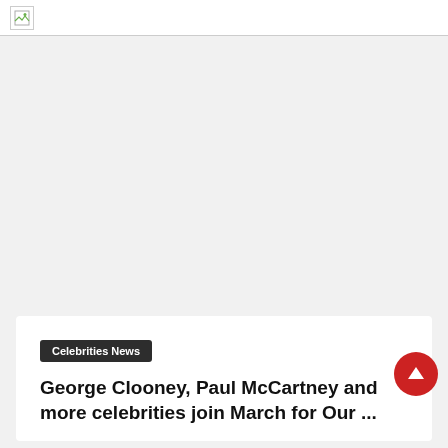[Figure (photo): Large image area that failed to load, shown as broken image icon in browser tab area. Gray background placeholder.]
Celebrities News
George Clooney, Paul McCartney and more celebrities join March for Our ...